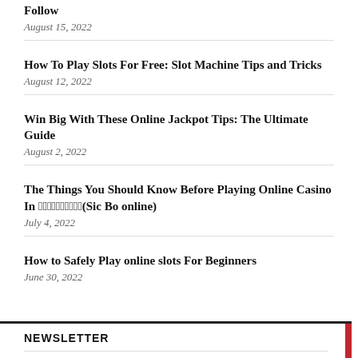Follow
August 15, 2022
How To Play Slots For Free: Slot Machine Tips and Tricks
August 12, 2022
Win Big With These Online Jackpot Tips: The Ultimate Guide
August 2, 2022
The Things You Should Know Before Playing Online Casino In 骰寶線上(Sic Bo online)
July 4, 2022
How to Safely Play online slots For Beginners
June 30, 2022
NEWSLETTER